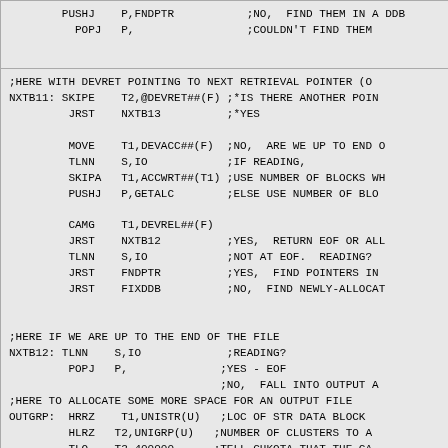PUSHJ    P,FNDPTR           ;NO,  FIND THEM IN A DDB
          POPJ   P,                 ;COULDN'T FIND THEM
;HERE WITH DEVRET POINTING TO NEXT RETRIEVAL POINTER (O
NXTB11: SKIPE    T2,@DEVRET##(F) ;*IS THERE ANOTHER POIN
         JRST    NXTB13          ;*YES

         MOVE    T1,DEVACC##(F)  ;NO,  ARE WE UP TO END O
         TLNN    S,IO            ;IF READING,
         SKIPA   T1,ACCWRT##(T1) ;USE NUMBER OF BLOCKS WH
         PUSHJ   P,GETALC        ;ELSE USE NUMBER OF BLO

         CAMG    T1,DEVREL##(F)
         JRST    NXTB12          ;YES,  RETURN EOF OR ALL
         TLNN    S,IO            ;NOT AT EOF.  READING?
         JRST    FNDPTR          ;YES,  FIND POINTERS IN
         JRST    FIXDDB          ;NO,  FIND NEWLY-ALLOCAT


;HERE IF WE ARE UP TO THE END OF THE FILE
NXTB12: TLNN    S,IO             ;READING?
         POPJ   P,              ;YES - EOF
                                ;NO,  FALL INTO OUTPUT A
;HERE TO ALLOCATE SOME MORE SPACE FOR AN OUTPUT FILE
OUTGRP:  HRRZ    T1,UNISTR(U)   ;LOC OF STR DATA BLOCK
         HLRZ   T2,UNIGRP(U)   ;NUMBER OF CLUSTERS TO A
         TLO    T2,400000      ;TELL CHKQTA THAT THE CA
         PUSHJ  P,CHKQTA       ;CHECK USERS QUOTA OR DI